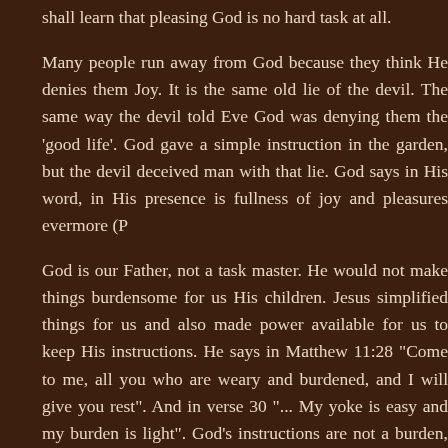shall learn that pleasing God is no hard task at all.
Many people run away from God because they think He denies them Joy. It is the same old lie of the devil. The same way the devil told Eve God was denying them the 'good life'. God gave a simple instruction in the garden, but the devil deceived man with that lie. God says in His word, in His presence is fullness of joy and pleasures evermore (Psalm 16:11).
God is our Father, not a task master. He would not make things burdensome for us His children. Jesus simplified things for us and also made power available for us to keep His instructions. He says in Matthew 11:28 "Come to me, all you who are weary and burdened, and I will give you rest". And in verse 30 "... My yoke is easy and my burden is light". God's instructions are not a burden, they are a delight.
Next time, we shall examine two simple instructions for pleasing God prescribed by the Lord Jesus Himself.
Go into today knowing that pleasing God is not hard